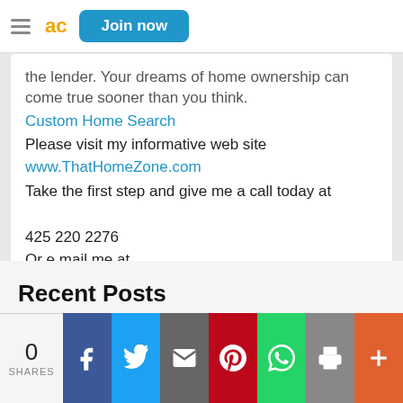Join now
the lender. Your dreams of home ownership can come true sooner than you think.
Custom Home Search
Please visit my informative web site
www.ThatHomeZone.com
Take the first step and give me a call today at
425 220 2276
Or e mail me at
Mail@ThatHomeZone.com
Recent Posts
0 SHARES